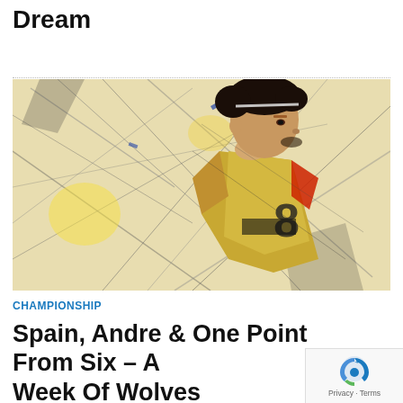Dream
[Figure (illustration): Digital art illustration of a football player in a yellow/gold jersey with number 8, shown in profile view against an abstract sketchy background with geometric shapes in black, white, and yellow tones.]
CHAMPIONSHIP
Spain, Andre & One Point From Six – A Week Of Wolves